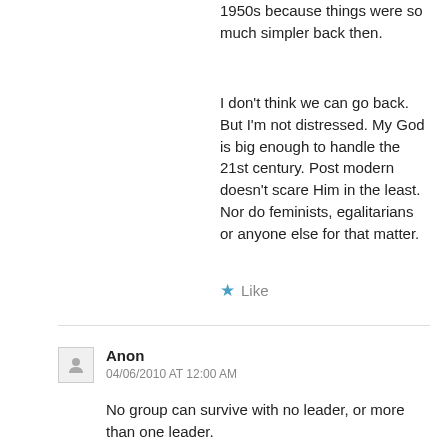1950s because things were so much simpler back then.
I don't think we can go back. But I'm not distressed. My God is big enough to handle the 21st century. Post modern doesn't scare Him in the least. Nor do feminists, egalitarians or anyone else for that matter.
★ Like
Anon
04/06/2010 AT 12:00 AM
No group can survive with no leader, or more than one leader.
★ Like